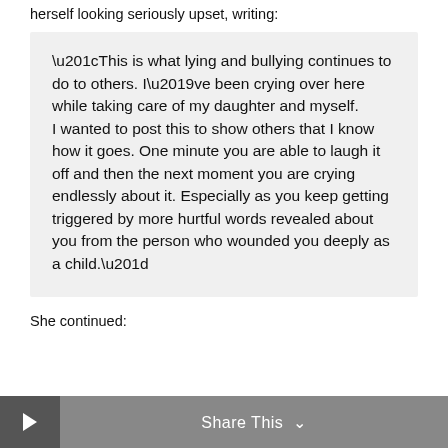herself looking seriously upset, writing:
“This is what lying and bullying continues to do to others. I’ve been crying over here while taking care of my daughter and myself.
I wanted to post this to show others that I know how it goes. One minute you are able to laugh it off and then the next moment you are crying endlessly about it. Especially as you keep getting triggered by more hurtful words revealed about you from the person who wounded you deeply as a child.”
She continued:
Share This